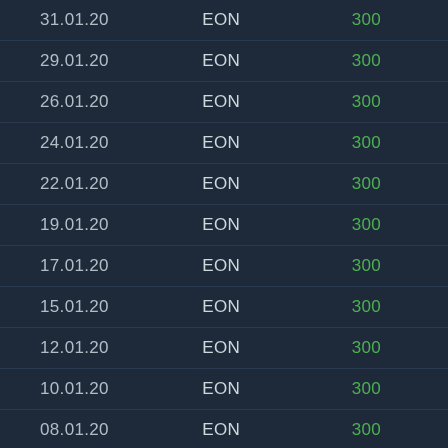| Date | Ticker | Value |
| --- | --- | --- |
| 31.01.20 | EON | 300 |
| 29.01.20 | EON | 300 |
| 26.01.20 | EON | 300 |
| 24.01.20 | EON | 300 |
| 22.01.20 | EON | 300 |
| 19.01.20 | EON | 300 |
| 17.01.20 | EON | 300 |
| 15.01.20 | EON | 300 |
| 12.01.20 | EON | 300 |
| 10.01.20 | EON | 300 |
| 08.01.20 | EON | 300 |
| 05.01.20 | EON | 300 |
| 03.01.20 | EON | 300 |
| 29.12.19 | EON | 300 |